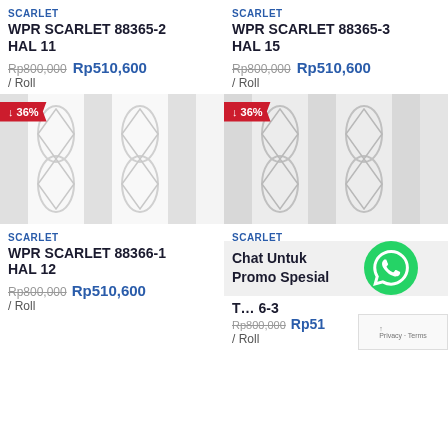SCARLET
WPR SCARLET 88365-2 HAL 11
Rp800,000  Rp510,600 / Roll
[Figure (photo): White embossed wallpaper texture with decorative pattern, showing discount badge 36%]
SCARLET
WPR SCARLET 88365-3 HAL 15
Rp800,000  Rp510,600 / Roll
[Figure (photo): White/light gray embossed wallpaper texture with decorative pattern, showing discount badge 36%]
SCARLET
WPR SCARLET 88366-1 HAL 12
Rp800,000  Rp510,600 / Roll
SCARLET
Chat Untuk Promo Spesial
T…6-3
Rp800,000  Rp51… / Roll